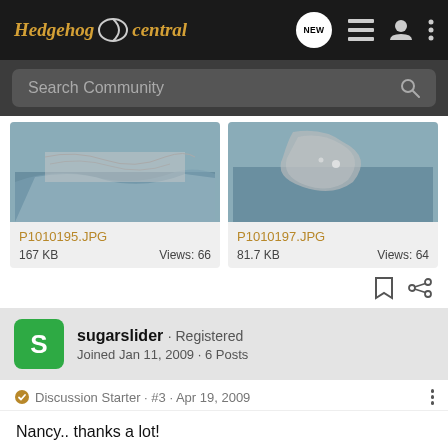Hedgehog Central — NEW · navigation icons
Search Community
[Figure (photo): Thumbnail image of hedgehog spines, cropped — P1010195.JPG, 167 KB, Views: 66]
[Figure (photo): Thumbnail image of hedgehog spines, cropped — P1010197.JPG, 81.7 KB, Views: 64]
P1010195.JPG
167 KB    Views: 66
P1010197.JPG
81.7 KB    Views: 64
sugarslider · Registered
Joined Jan 11, 2009 · 6 Posts
Discussion Starter · #3 · Apr 19, 2009
Nancy.. thanks a lot!